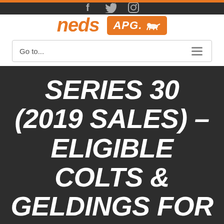f  tw  instagram — social icons
[Figure (logo): neds logo (orange italic text) and APG logo (white text on orange rounded rectangle with horse icon)]
Go to...
SERIES 30 (2019 SALES) – ELIGIBLE COLTS & GELDINGS FOR APG 3YO (2021)